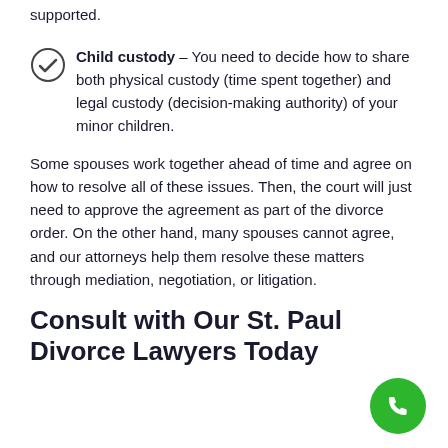supported.
Child custody – You need to decide how to share both physical custody (time spent together) and legal custody (decision-making authority) of your minor children.
Some spouses work together ahead of time and agree on how to resolve all of these issues. Then, the court will just need to approve the agreement as part of the divorce order. On the other hand, many spouses cannot agree, and our attorneys help them resolve these matters through mediation, negotiation, or litigation.
Consult with Our St. Paul Divorce Lawyers Today